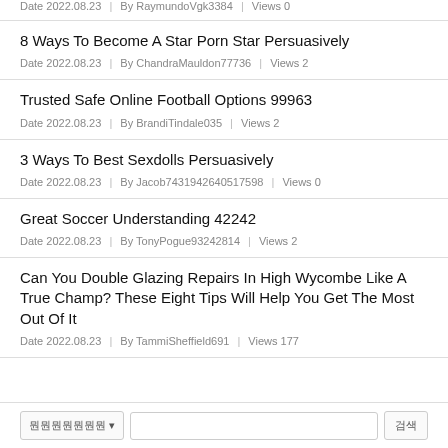Date 2022.08.23 | By RaymundoVgk3384 | Views 0
8 Ways To Become A Star Porn Star Persuasively
Date 2022.08.23 | By ChandraMauldon77736 | Views 2
Trusted Safe Online Football Options 99963
Date 2022.08.23 | By BrandiTindale035 | Views 2
3 Ways To Best Sexdolls Persuasively
Date 2022.08.23 | By Jacob7431942640517598 | Views 0
Great Soccer Understanding 42242
Date 2022.08.23 | By TonyPogue93242814 | Views 2
Can You Double Glazing Repairs In High Wycombe Like A True Champ? These Eight Tips Will Help You Get The Most Out Of It
Date 2022.08.23 | By TammiSheffield691 | Views 177